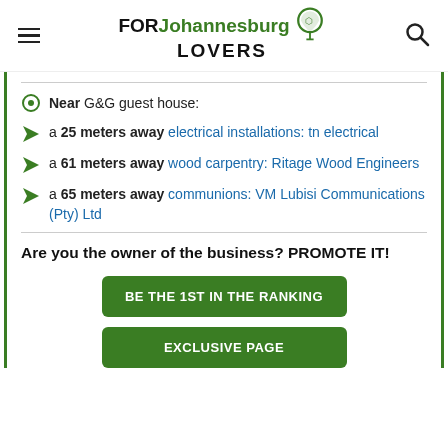FOR Johannesburg LOVERS
Near G&G guest house:
a 25 meters away electrical installations: tn electrical
a 61 meters away wood carpentry: Ritage Wood Engineers
a 65 meters away communions: VM Lubisi Communications (Pty) Ltd
Are you the owner of the business? PROMOTE IT!
BE THE 1ST IN THE RANKING
EXCLUSIVE PAGE